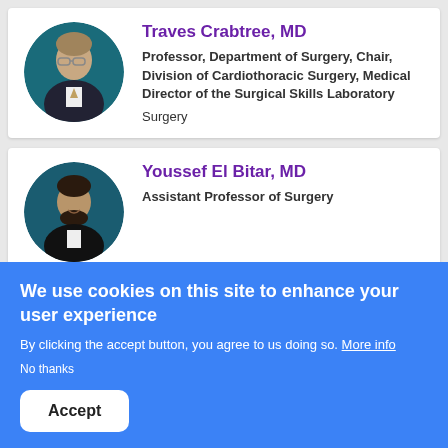[Figure (photo): Circular portrait photo of Dr. Traves Crabtree, MD]
Traves Crabtree, MD
Professor, Department of Surgery, Chair, Division of Cardiothoracic Surgery, Medical Director of the Surgical Skills Laboratory
Surgery
[Figure (photo): Circular portrait photo of Dr. Youssef El Bitar, MD]
Youssef El Bitar, MD
Assistant Professor of Surgery
We use cookies on this site to enhance your user experience
By clicking the accept button, you agree to us doing so. More info
No thanks
Accept